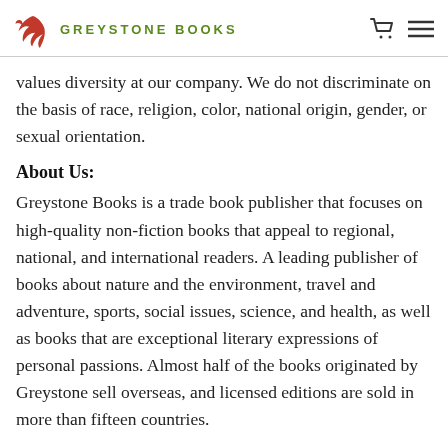GREYSTONE BOOKS
values diversity at our company. We do not discriminate on the basis of race, religion, color, national origin, gender, or sexual orientation.
About Us:
Greystone Books is a trade book publisher that focuses on high-quality non-fiction books that appeal to regional, national, and international readers. A leading publisher of books about nature and the environment, travel and adventure, sports, social issues, science, and health, as well as books that are exceptional literary expressions of personal passions. Almost half of the books originated by Greystone sell overseas, and licensed editions are sold in more than fifteen countries.
Greystone Books was recognized in April 2017 by